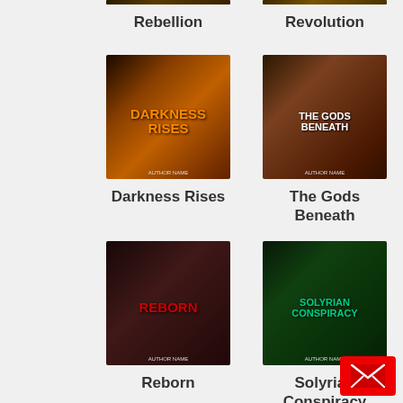[Figure (illustration): Book cover for Rebellion (partially cropped at top)]
Rebellion
[Figure (illustration): Book cover for Revolution (partially cropped at top)]
Revolution
[Figure (illustration): Book cover for Darkness Rises]
Darkness Rises
[Figure (illustration): Book cover for The Gods Beneath]
The Gods Beneath
[Figure (illustration): Book cover for Reborn]
Reborn
[Figure (illustration): Book cover for Solyrian Conspiracy]
Solyrian Conspiracy